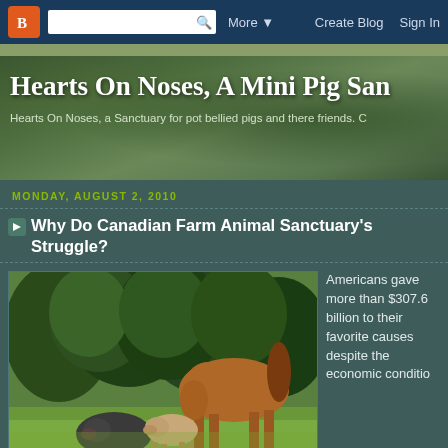Blogger navigation bar with logo, search box, More, Create Blog, Sign In
Hearts On Noses, A Mini Pig San...
Hearts On Noses, a Sanctuary for pot bellied pigs and there friends. C...
MONDAY, AUGUST 2, 2010
Why Do Canadian Farm Animal Sanctuary's Struggle?
[Figure (photo): A horse and two pigs (one dark pot-bellied pig, one lighter pig) on green grass with trees/shrubs in background]
Americans gave more than $307.6 billion to their favorite causes despite the economic conditio...